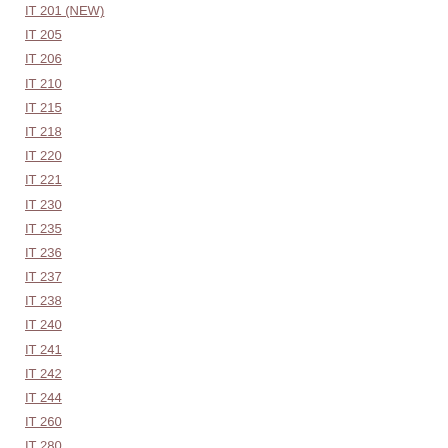IT 201 (NEW)
IT 205
IT 206
IT 210
IT 215
IT 218
IT 220
IT 221
IT 230
IT 235
IT 236
IT 237
IT 238
IT 240
IT 241
IT 242
IT 244
IT 260
IT 280